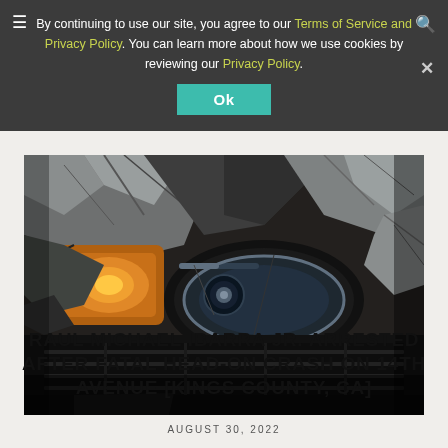By continuing to use our site, you agree to our Terms of Service and Privacy Policy. You can learn more about how we use cookies by reviewing our Privacy Policy.
[Figure (photo): Close-up of a severely damaged car front end after a collision — crumpled hood, broken headlight assembly visible]
RAUL MICHAEL IBARRA JR. ARRESTED AFTER FATAL HEAD-ON CRASH ON 14TH AVENUE [KINGS COUNTY, CA]
AUGUST 30, 2022